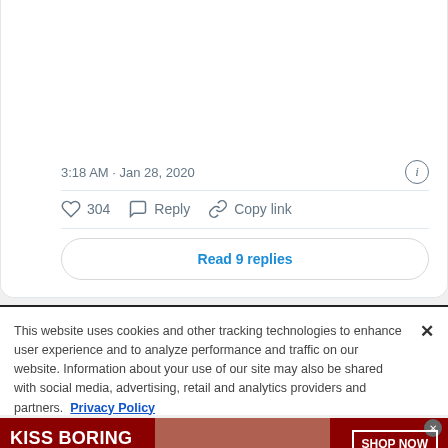[Figure (photo): Cropped black and white photo of a person's face from below the nose, wearing a dark hat, with hair visible]
3:18 AM · Jan 28, 2020
304  Reply  Copy link
Read 9 replies
This website uses cookies and other tracking technologies to enhance user experience and to analyze performance and traffic on our website. Information about your use of our site may also be shared with social media, advertising, retail and analytics providers and partners.  Privacy Policy
[Figure (photo): Advertisement banner: KISS BORING LIPS GOODBYE with a model and SHOP NOW button, Macy's logo]